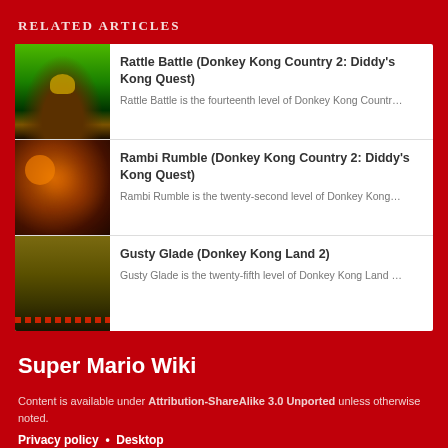RELATED ARTICLES
Rattle Battle (Donkey Kong Country 2: Diddy's Kong Quest)
Rattle Battle is the fourteenth level of Donkey Kong Countr...
Rambi Rumble (Donkey Kong Country 2: Diddy's Kong Quest)
Rambi Rumble is the twenty-second level of Donkey Kong...
Gusty Glade (Donkey Kong Land 2)
Gusty Glade is the twenty-fifth level of Donkey Kong Land ...
Super Mario Wiki
Content is available under Attribution-ShareAlike 3.0 Unported unless otherwise noted.
Privacy policy  •  Desktop